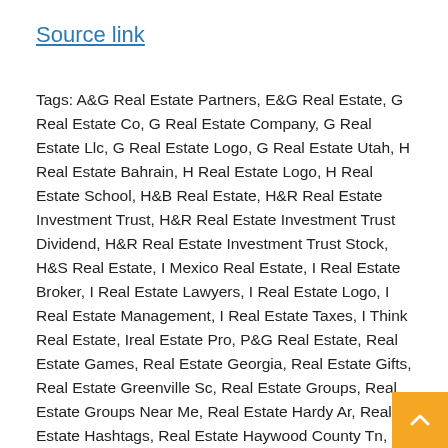Source link
Tags: A&G Real Estate Partners, E&G Real Estate, G Real Estate Co, G Real Estate Company, G Real Estate Llc, G Real Estate Logo, G Real Estate Utah, H Real Estate Bahrain, H Real Estate Logo, H Real Estate School, H&B Real Estate, H&R Real Estate Investment Trust, H&R Real Estate Investment Trust Dividend, H&R Real Estate Investment Trust Stock, H&S Real Estate, I Mexico Real Estate, I Real Estate Broker, I Real Estate Lawyers, I Real Estate Logo, I Real Estate Management, I Real Estate Taxes, I Think Real Estate, Ireal Estate Pro, P&G Real Estate, Real Estate Games, Real Estate Georgia, Real Estate Gifts, Real Estate Greenville Sc, Real Estate Groups, Real Estate Groups Near Me, Real Estate Hardy Ar, Real Estate Hashtags, Real Estate Haywood County Tn, Real Estate Headshots, Real Estate Henderson Tn, Real Estate Hernando Ms, Real Estate Highlands Nc, Real Estate Horn Lake Ms, Real Estate In Hernando Ms, Real Estate In Memphis, Real Estate In Oxford Ms, Real Estate Institute, Real Estate Internships, Real Estate Investment, Real Estate Investment Trust, Real Estate Investor, Real Estate Jobs,